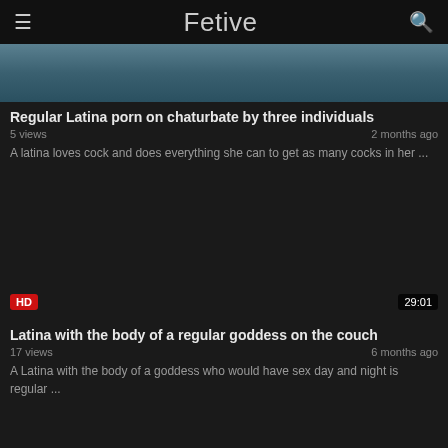Fetive
[Figure (photo): Partial thumbnail image of a video, showing skin tones and dark background]
Regular Latina porn on chaturbate by three individuals
5 views   2 months ago
A latina loves cock and does everything she can to get as many cocks in her ...
[Figure (photo): Dark video thumbnail with HD badge and 29:01 duration badge]
Latina with the body of a regular goddess on the couch
17 views   6 months ago
A Latina with the body of a goddess who would have sex day and night is regular ...